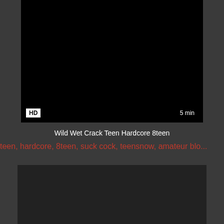[Figure (screenshot): Black video thumbnail with HD badge and 5 min duration label]
Wild Wet Crack Teen Hardcore 8teen
teen, hardcore, 8teen, suck cock, teensnow, amateur blo...
[Figure (screenshot): Second black video thumbnail]